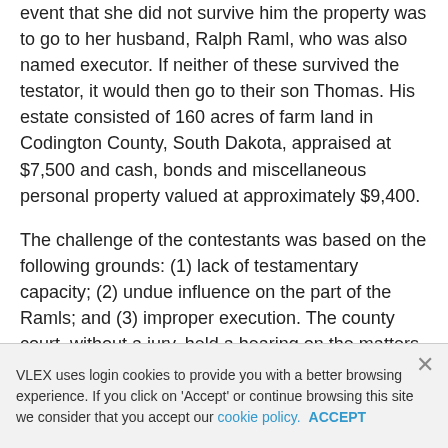event that she did not survive him the property was to go to her husband, Ralph Raml, who was also named executor. If neither of these survived the testator, it would then go to their son Thomas. His estate consisted of 160 acres of farm land in Codington County, South Dakota, appraised at $7,500 and cash, bonds and miscellaneous personal property valued at approximately $9,400.
The challenge of the contestants was based on the following grounds: (1) lack of testamentary capacity; (2) undue influence on the part of the Ramls; and (3) improper execution. The county court, without a jury, held a hearing on the matters in issue and made findings of fact favorable to the proponent and admitted the will to probate. From this the contestants appealed to the circuit court. After hearing testimony for three days and considering the briefs of both parties, the court made similar findings and entered judgment dismissing the
VLEX uses login cookies to provide you with a better browsing experience. If you click on 'Accept' or continue browsing this site we consider that you accept our cookie policy. ACCEPT